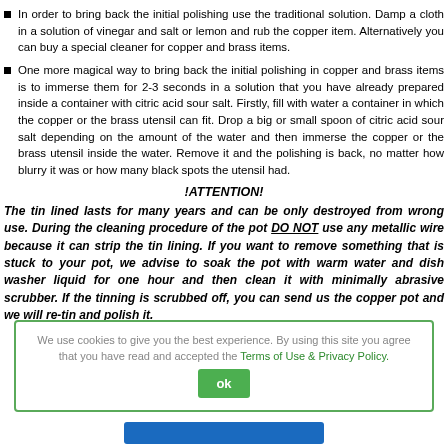In order to bring back the initial polishing use the traditional solution. Damp a cloth in a solution of vinegar and salt or lemon and rub the copper item. Alternatively you can buy a special cleaner for copper and brass items.
One more magical way to bring back the initial polishing in copper and brass items is to immerse them for 2-3 seconds in a solution that you have already prepared inside a container with citric acid sour salt. Firstly, fill with water a container in which the copper or the brass utensil can fit. Drop a big or small spoon of citric acid sour salt depending on the amount of the water and then immerse the copper or the brass utensil inside the water. Remove it and the polishing is back, no matter how blurry it was or how many black spots the utensil had.
!ATTENTION!
The tin lined lasts for many years and can be only destroyed from wrong use. During the cleaning procedure of the pot DO NOT use any metallic wire because it can strip the tin lining. If you want to remove something that is stuck to your pot, we advise to soak the pot with warm water and dish washer liquid for one hour and then clean it with minimally abrasive scrubber. If the tinning is scrubbed off, you can send us the copper pot and we will re-tin and polish it.
We use cookies to give you the best experience. By using this site you agree that you have read and accepted the Terms of Use & Privacy Policy.